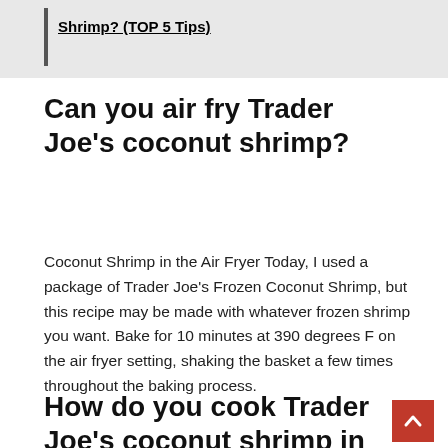Shrimp? (TOP 5 Tips)
Can you air fry Trader Joe's coconut shrimp?
Coconut Shrimp in the Air Fryer Today, I used a package of Trader Joe's Frozen Coconut Shrimp, but this recipe may be made with whatever frozen shrimp you want. Bake for 10 minutes at 390 degrees F on the air fryer setting, shaking the basket a few times throughout the baking process.
How do you cook Trader Joe's coconut shrimp in